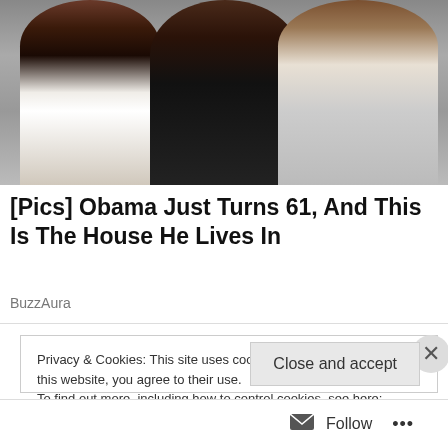[Figure (photo): Photo of three people smiling together — a woman on the left in dark top with white pattern, a younger woman in the center in dark top, and a man on the right in a plaid shirt, outdoors with greenery in background]
[Pics] Obama Just Turns 61, And This Is The House He Lives In
BuzzAura
Privacy & Cookies: This site uses cookies. By continuing to use this website, you agree to their use.
To find out more, including how to control cookies, see here:
Cookie Policy
Close and accept
Follow